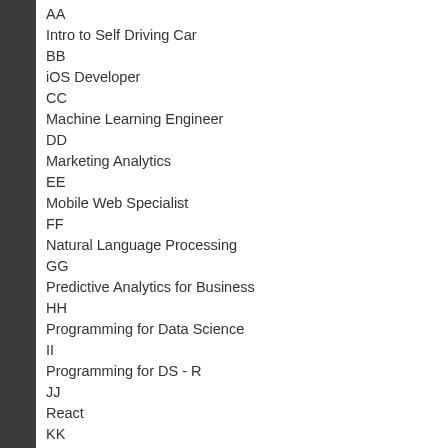AA
Intro to Self Driving Car
BB
iOS Developer
CC
Machine Learning Engineer
DD
Marketing Analytics
EE
Mobile Web Specialist
FF
Natural Language Processing
GG
Predictive Analytics for Business
HH
Programming for Data Science
II
Programming for DS - R
JJ
React
KK
Robotics ND
LL
Self-Driving Car Engineer
MM